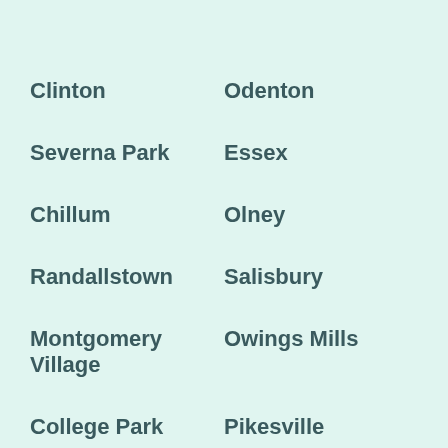Clinton
Odenton
Severna Park
Essex
Chillum
Olney
Randallstown
Salisbury
Montgomery Village
Owings Mills
College Park
Pikesville
Eldersburg
Parkville